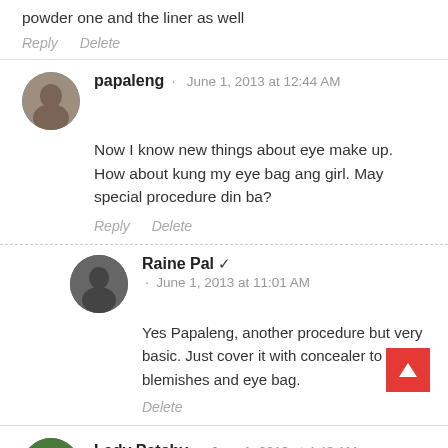powder one and the liner as well
Reply   Delete
papaleng · June 1, 2013 at 12:44 AM
Now I know new things about eye make up. How about kung my eye bag ang girl. May special procedure din ba?
Reply   Delete
Raine Pal · June 1, 2013 at 11:01 AM
Yes Papaleng, another procedure but very basic. Just cover it with concealer to hide blemishes and eye bag.
Delete
Lady Patchy · June 1, 2013 at 4:42 AM